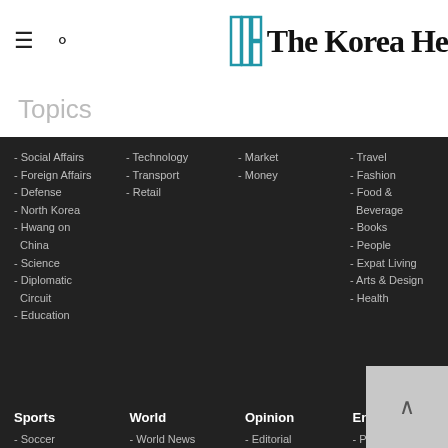The Korea Herald
Topics
- Social Affairs
- Foreign Affairs
- Defense
- North Korea
- Hwang on China
- Science
- Diplomatic Circuit
- Education
- Technology
- Transport
- Retail
- Market
- Money
- Travel
- Fashion
- Food & Beverage
- Books
- People
- Expat Living
- Arts & Design
- Health
Sports
- Soccer
- Baseball
- Golf
- More Sports
World
- World News
- World Business
Opinion
- Editorial
- Viewpoints
English Eye
- Podcast
- English Cafe